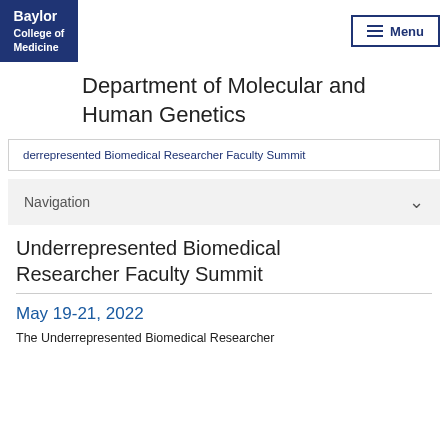Baylor College of Medicine
Department of Molecular and Human Genetics
Underrepresented Biomedical Researcher Faculty Summit
Navigation
Underrepresented Biomedical Researcher Faculty Summit
May 19-21, 2022
The Underrepresented Biomedical Researcher